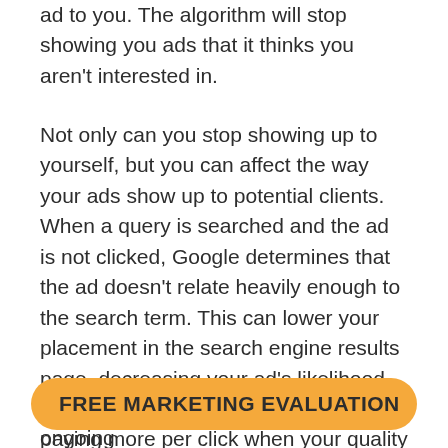ad to you. The algorithm will stop showing you ads that it thinks you aren't interested in.
Not only can you stop showing up to yourself, but you can affect the way your ads show up to potential clients. When a query is searched and the ad is not clicked, Google determines that the ad doesn't relate heavily enough to the search term. This can lower your placement in the search engine results page, decreasing your ad's likelihood of being clicked. You can also end up paying more per click when your quality score is lower, and Google can stop showing your ad altogether.
You can also b... SEO is an ongoing...
[Figure (other): Orange rounded rectangle button with bold text reading FREE MARKETING EVALUATION]